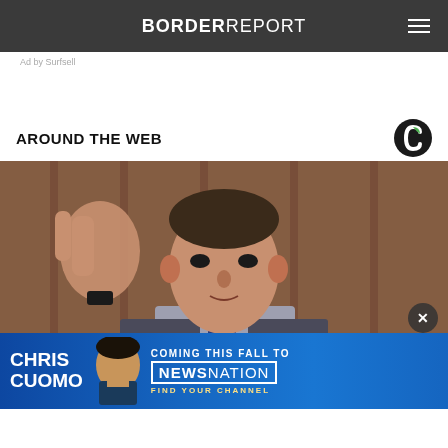BORDER REPORT
Ad by Surfsell
AROUND THE WEB
[Figure (photo): A man in a suit gesturing with his hand raised, speaking at what appears to be a hearing or press conference. An overlay advertisement at the bottom reads 'CHRIS CUOMO COMING THIS FALL TO NEWSNATION FIND YOUR CHANNEL'.]